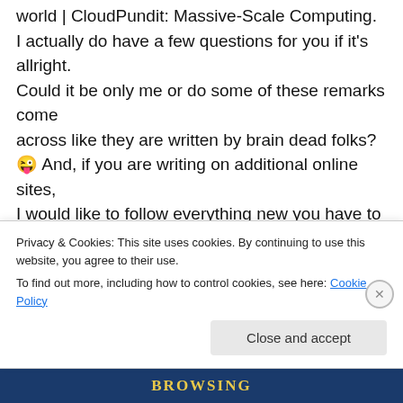world | CloudPundit: Massive-Scale Computing. I actually do have a few questions for you if it's allright. Could it be only me or do some of these remarks come across like they are written by brain dead folks? 😜 And, if you are writing on additional online sites, I would like to follow everything new you have to post. Would you post a list of every one of your social
Privacy & Cookies: This site uses cookies. By continuing to use this website, you agree to their use. To find out more, including how to control cookies, see here: Cookie Policy
Close and accept